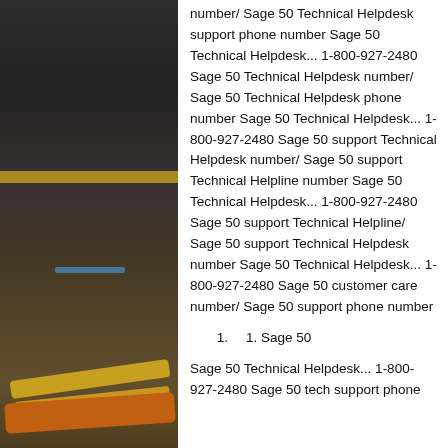[Figure (photo): Indoor photo of what appears to be a stage or industrial/warehouse space with yellow/orange pipes or railings in the foreground and dark background walls. A blue light is visible in the middle area.]
number/ Sage 50 Technical Helpdesk support phone number Sage 50 Technical Helpdesk... 1-800-927-2480 Sage 50 Technical Helpdesk number/ Sage 50 Technical Helpdesk phone number Sage 50 Technical Helpdesk... 1-800-927-2480 Sage 50 support Technical Helpdesk number/ Sage 50 support Technical Helpline number Sage 50 Technical Helpdesk... 1-800-927-2480 Sage 50 support Technical Helpline/ Sage 50 support Technical Helpdesk number Sage 50 Technical Helpdesk... 1-800-927-2480 Sage 50 customer care number/ Sage 50 support phone number
1. Sage 50
Sage 50 Technical Helpdesk... 1-800-927-2480 Sage 50 tech support phone